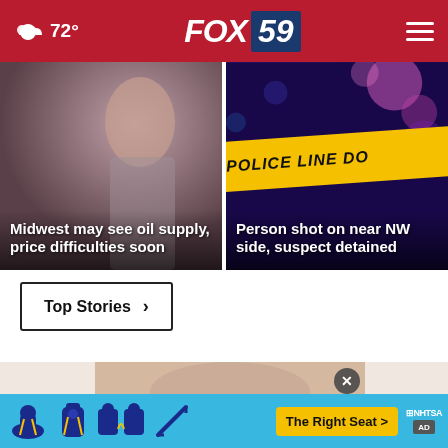72° FOX 59
[Figure (photo): Woman with dark hair, blurred background — news card for oil supply story]
Midwest may see oil supply, price difficulties soon
[Figure (photo): Police line do not cross tape with bokeh background — news card for shooting story]
Person shot on near NW side, suspect detained
Top Stories ›
[Figure (photo): Partial photo of person visible below top stories button]
[Figure (infographic): NHTSA The Right Seat advertisement banner with car seat safety icons]